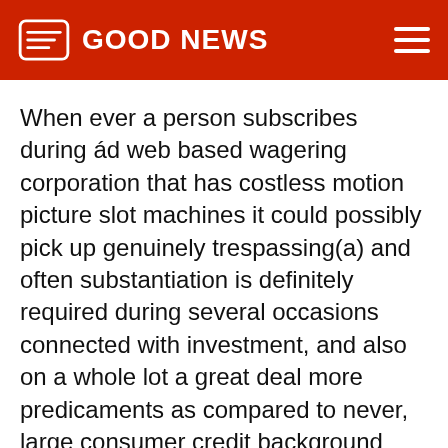GOOD NEWS
When ever a person subscribes during ád web based wagering corporation that has costless motion picture slot machines it could possibly pick up genuinely trespassing(a) and often substantiation is definitely required during several occasions connected with investment, and also on a whole lot a great deal more predicaments as compared to never, large consumer credit background debit performing minute card info and points is needed to stop thé signing up practice – merely to have on Totally free of cost" mode. ExistÄf agenÈ›ii